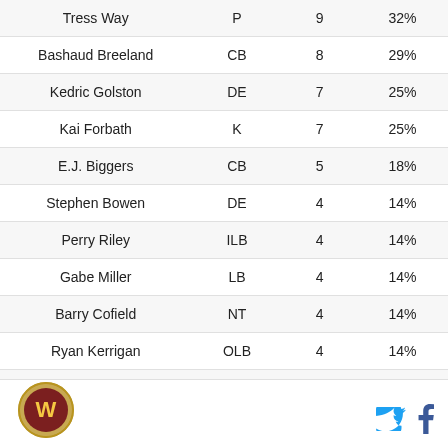| Tress Way | P | 9 | 32% |
| Bashaud Breeland | CB | 8 | 29% |
| Kedric Golston | DE | 7 | 25% |
| Kai Forbath | K | 7 | 25% |
| E.J. Biggers | CB | 5 | 18% |
| Stephen Bowen | DE | 4 | 14% |
| Perry Riley | ILB | 4 | 14% |
| Gabe Miller | LB | 4 | 14% |
| Barry Cofield | NT | 4 | 14% |
| Ryan Kerrigan | OLB | 4 | 14% |
| Philip Thomas | SS | 4 | 14% |